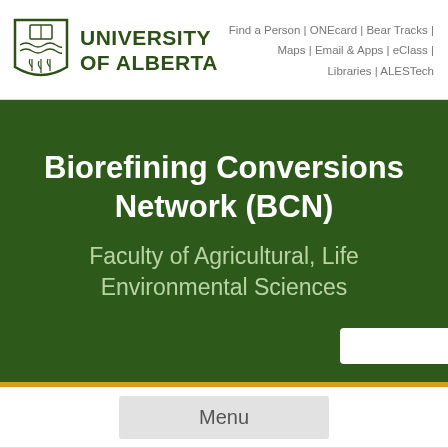University of Alberta | Find a Person | ONEcard | Bear Tracks | Maps | Email & Apps | eClass | Libraries | ALESTech
Biorefining Conversions Network (BCN)
Faculty of Agricultural, Life Environmental Sciences
Menu
Biorefining Conversions Network (BCN)